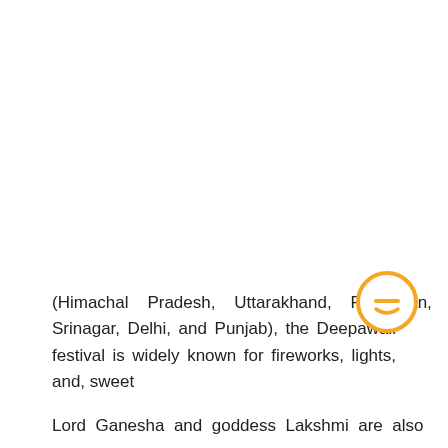(Himachal Pradesh, Uttarakhand, Rajasthan, Srinagar, Delhi, and Punjab), the Deepawali festival is widely known for fireworks, lights, and, sweet
[Figure (illustration): Orange circular icon with a minus/dash symbol and a smile, resembling a chat or feedback button]
Lord Ganesha and goddess Lakshmi are also